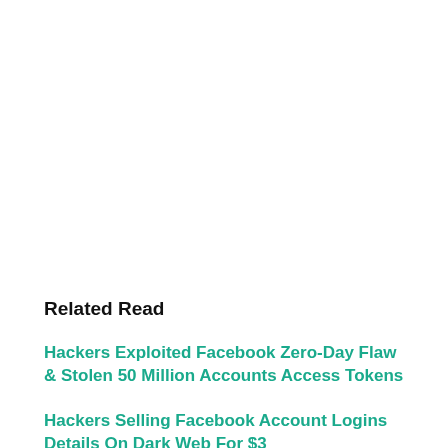Related Read
Hackers Exploited Facebook Zero-Day Flaw & Stolen 50 Million Accounts Access Tokens
Hackers Selling Facebook Account Logins Details On Dark Web For $3